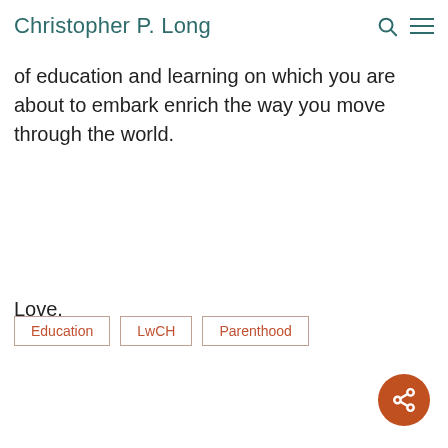Christopher P. Long
of education and learning on which you are about to embark enrich the way you move through the world.
Love,
Dad
Education
LwCH
Parenthood